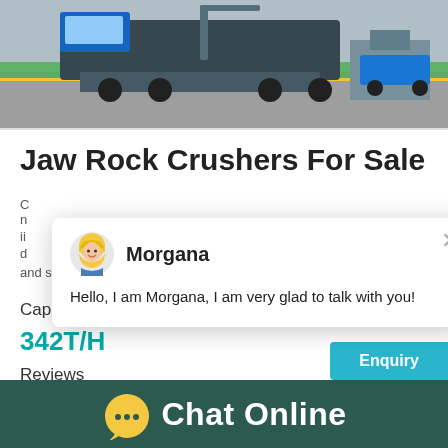[Figure (photo): Aerial view of jaw rock crusher equipment/machinery on a concrete surface with green painted area and vehicles/trucks visible]
Jaw Rock Crushers For Sale
and smooth operation
Capacity
342T/H
Reviews
[Figure (screenshot): Chat popup window with avatar of Morgana. Text: Hello, I am Morgana, I am very glad to talk with you!]
[Figure (screenshot): Right-side chat widget with colored circles and 'Click me to chat >>' button showing notification badge '1']
[Figure (screenshot): Enquiry button panel on the right side]
Chat Online